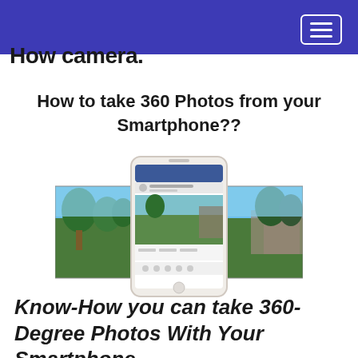How camera:
How to take 360 Photos from your Smartphone??
[Figure (screenshot): Smartphone displaying a Facebook 360 panoramic photo of an outdoor park/landscape, with the panoramic image visible behind the phone screen]
Know-How you can take 360-Degree Photos With Your Smartphone.